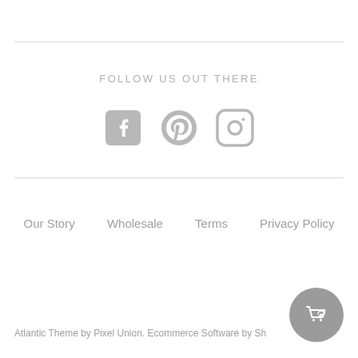FOLLOW US OUT THERE
[Figure (illustration): Three social media icons: Facebook, Pinterest, Instagram in gray]
Our Story    Wholesale    Terms    Privacy Policy
Atlantic Theme by Pixel Union. Ecommerce Software by Sh...